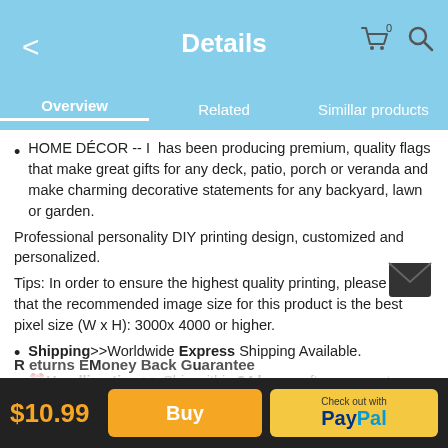Details
Overview   Related   Simillar products
HOME DÉCOR -- I  has been producing premium, quality flags that make great gifts for any deck, patio, porch or veranda and make charming decorative statements for any backyard, lawn or garden.
Professional personality DIY printing design, customized and personalized.
Tips: In order to ensure the highest quality printing, please note that the recommended image size for this product is the best pixel size (W x H): 3000x 4000 or higher.
Shipping>>Worldwide Express Shipping Available.
⏰Handling time>> Ship within 24 hours after payment.
$10.99   Buy   Check out with PayPal